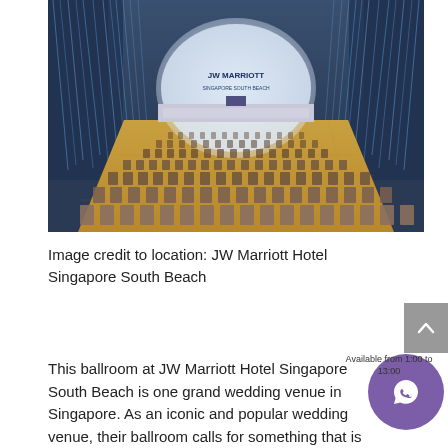[Figure (photo): Grand ballroom interior of JW Marriott Hotel Singapore South Beach. Rows of chairs arranged in theatre style on a golden marble floor, converging toward a stage at the far end with a large arched illuminated backdrop displaying the JW Marriott logo. The ceiling and walls are decorated with dramatic blue crystal or metallic hanging installations.]
Image credit to location: JW Marriott Hotel Singapore South Beach
This ballroom at JW Marriott Hotel Singapore South Beach is one grand wedding venue in Singapore. As an iconic and popular wedding venue, their ballroom calls for something that is glamorous.